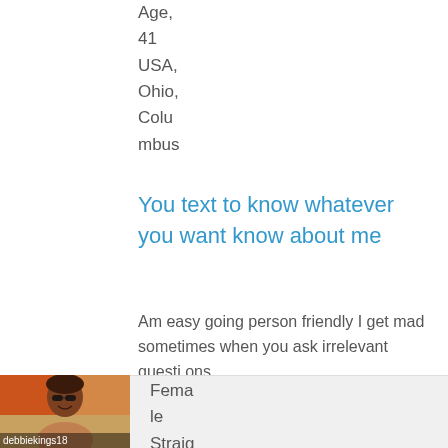Age:
41
USA,
Ohio,
Columbus
You text to know whatever you want know about me
Am easy going person friendly I get mad sometimes when you ask irrelevant questions
[Figure (photo): Profile photo of a woman with sunglasses, username debbiekings18]
Female
Straig